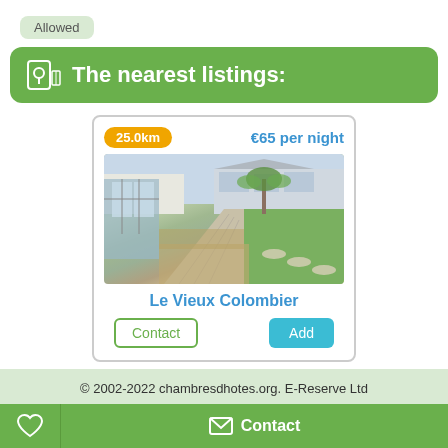Allowed
The nearest listings:
[Figure (other): Listing card for Le Vieux Colombier showing distance 25.0km, price €65 per night, a garden/outdoor photo, and Contact and Add buttons]
© 2002-2022 chambresdhotes.org. E-Reserve Ltd
Contact